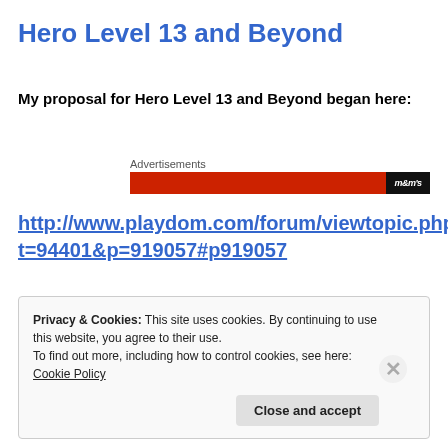Hero Level 13 and Beyond
My proposal for Hero Level 13 and Beyond began here:
[Figure (other): Advertisements banner with red M&M's ad strip]
http://www.playdom.com/forum/viewtopic.php?t=94401&p=919057#p919057
Privacy & Cookies: This site uses cookies. By continuing to use this website, you agree to their use. To find out more, including how to control cookies, see here: Cookie Policy